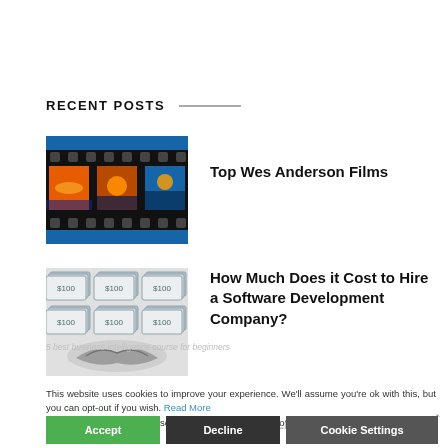RECENT POSTS
[Figure (photo): Film strip with sunset images in blue background]
Top Wes Anderson Films
[Figure (photo): Money bills and handshake, black and white]
How Much Does it Cost to Hire a Software Development Company?
This website uses cookies to improve your experience. We'll assume you're ok with this, but you can opt-out if you wish. Read More In case of sale of your personal information, you may opt out by using the link Do Not Sell My Personal Information